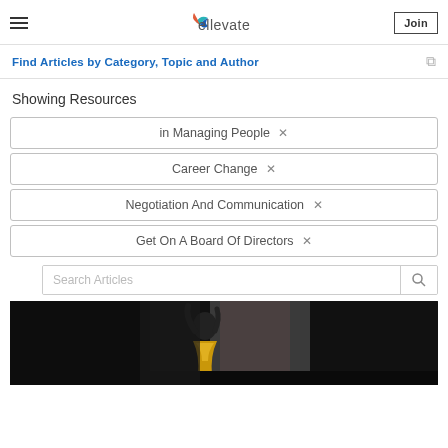ellevate
Find Articles by Category, Topic and Author
Showing Resources
in Managing People ×
Career Change ×
Negotiation And Communication ×
Get On A Board Of Directors ×
Search Articles
[Figure (photo): A person in a yellow outfit photographed in dark/dramatic lighting, reaching upward against a wall]